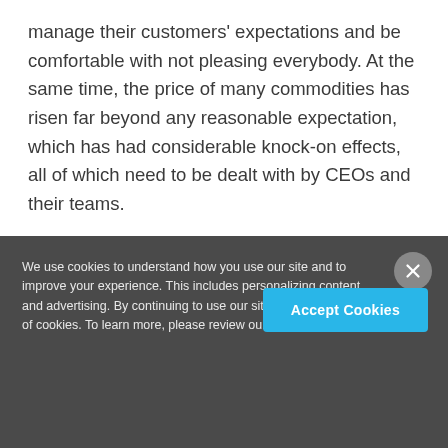manage their customers' expectations and be comfortable with not pleasing everybody. At the same time, the price of many commodities has risen far beyond any reasonable expectation, which has had considerable knock-on effects, all of which need to be dealt with by CEOs and their teams.
4. Securing New Talent
Younger generations have very different work
We use cookies to understand how you use our site and to improve your experience. This includes personalizing content and advertising. By continuing to use our site, you accept our use of cookies. To learn more, please review our privacy policy.